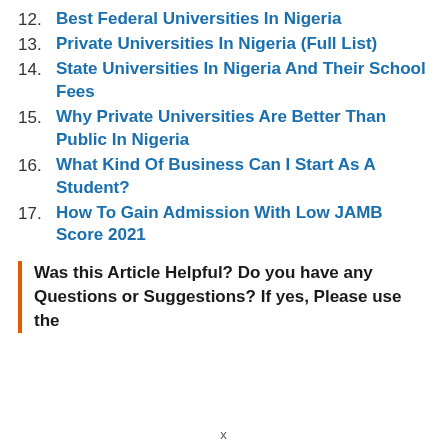12. Best Federal Universities In Nigeria
13. Private Universities In Nigeria (Full List)
14. State Universities In Nigeria And Their School Fees
15. Why Private Universities Are Better Than Public In Nigeria
16. What Kind Of Business Can I Start As A Student?
17. How To Gain Admission With Low JAMB Score 2021
Was this Article Helpful? Do you have any Questions or Suggestions? If yes, Please use the